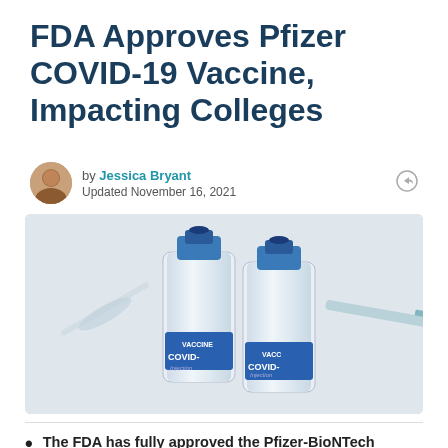FDA Approves Pfizer COVID-19 Vaccine, Impacting Colleges
by Jessica Bryant
Updated November 16, 2021
[Figure (photo): Two glass vials labeled VACCINE COVID- Injection with a syringe in the background on a light surface]
The FDA has fully approved the Pfizer-BioNTech